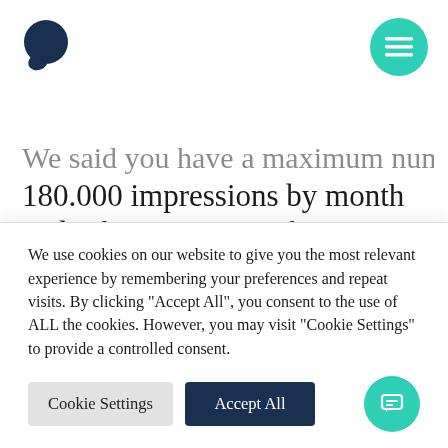[Figure (logo): Dark teal circular chat bubble logo in top left]
[Figure (other): Teal circular hamburger menu button in top right]
We said you have a maximum number of 180.000 impressions by month and a forecast CPC of 5.37 €. You're only one variable away to calculate how much you can spend on your campaign. That's the average click-through-rate (CTR). Your CTR will depend heavily on several factors such as your offer, your ad
We use cookies on our website to give you the most relevant experience by remembering your preferences and repeat visits. By clicking "Accept All", you consent to the use of ALL the cookies. However, you may visit "Cookie Settings" to provide a controlled consent.